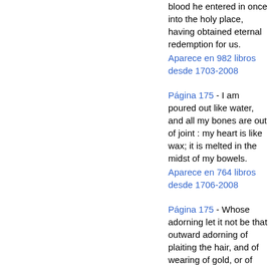blood he entered in once into the holy place, having obtained eternal redemption for us.
Aparece en 982 libros desde 1703-2008
Página 175 - I am poured out like water, and all my bones are out of joint : my heart is like wax; it is melted in the midst of my bowels.
Aparece en 764 libros desde 1706-2008
Página 175 - Whose adorning let it not be that outward adorning of plaiting the hair, and of wearing of gold, or of putting on of apparel ; but let it be the hidden